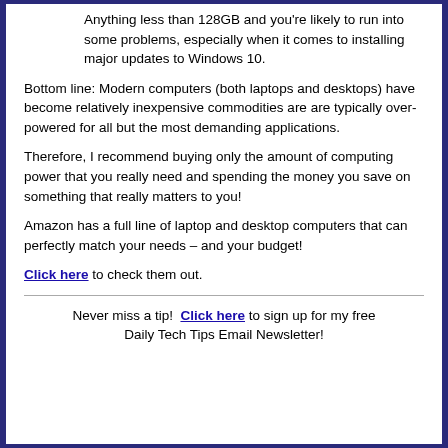Anything less than 128GB and you're likely to run into some problems, especially when it comes to installing major updates to Windows 10.
Bottom line: Modern computers (both laptops and desktops) have become relatively inexpensive commodities are are typically over-powered for all but the most demanding applications.
Therefore, I recommend buying only the amount of computing power that you really need and spending the money you save on something that really matters to you!
Amazon has a full line of laptop and desktop computers that can perfectly match your needs – and your budget!
Click here to check them out.
Never miss a tip! Click here to sign up for my free Daily Tech Tips Email Newsletter!